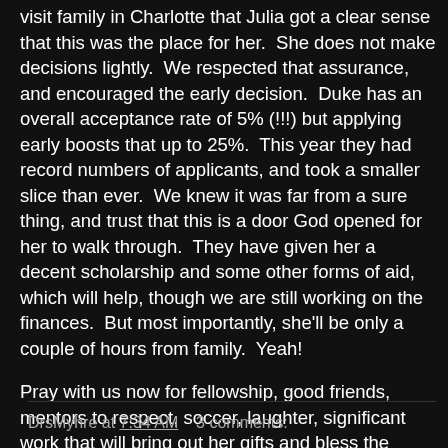visit family in Charlotte that Julia got a clear sense that this was the place for her.  She does not make decisions lightly.  We respected that assurance, and encouraged the early decision.  Duke has an overall acceptance rate of 5% (!!!) but applying early boosts that up to 25%.  This year they had record numbers of applicants, and took a smaller slice than ever.  We knew it was far from a sure thing, and trust that this is a door God opened for her to walk through.  They have given her a decent scholarship and some other forms of aid, which will help, though we are still working on the finances.  But most importantly, she'll be only a couple of hours from family.  Yeah!
Pray with us now for fellowship, good friends, mentors to respect, soccer, laughter, significant work that will bring out her gifts and bless the world.
Three down, one to go.
DrsMyhre at 7:34 AM   3 comments: